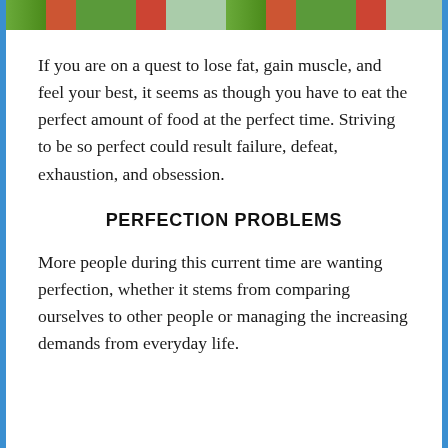[Figure (photo): Cropped photo showing vegetables including greens and red tomatoes/peppers from above]
If you are on a quest to lose fat, gain muscle, and feel your best, it seems as though you have to eat the perfect amount of food at the perfect time. Striving to be so perfect could result failure, defeat, exhaustion, and obsession.
PERFECTION PROBLEMS
More people during this current time are wanting perfection, whether it stems from comparing ourselves to other people or managing the increasing demands from everyday life.